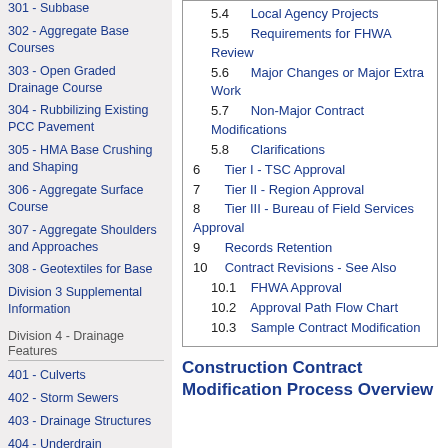301 - Subbase
302 - Aggregate Base Courses
303 - Open Graded Drainage Course
304 - Rubbilizing Existing PCC Pavement
305 - HMA Base Crushing and Shaping
306 - Aggregate Surface Course
307 - Aggregate Shoulders and Approaches
308 - Geotextiles for Base
Division 3 Supplemental Information
Division 4 - Drainage Features
401 - Culverts
402 - Storm Sewers
403 - Drainage Structures
404 - Underdrain
| 5.4 | Local Agency Projects |
| 5.5 | Requirements for FHWA Review |
| 5.6 | Major Changes or Major Extra Work |
| 5.7 | Non-Major Contract Modifications |
| 5.8 | Clarifications |
| 6 | Tier I - TSC Approval |
| 7 | Tier II - Region Approval |
| 8 | Tier III - Bureau of Field Services Approval |
| 9 | Records Retention |
| 10 | Contract Revisions - See Also |
| 10.1 | FHWA Approval |
| 10.2 | Approval Path Flow Chart |
| 10.3 | Sample Contract Modification |
Construction Contract Modification Process Overview